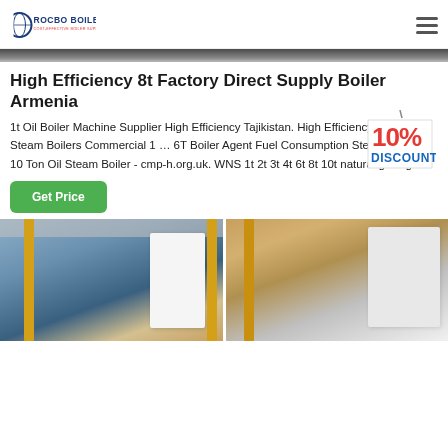[Figure (logo): Rocbo Boiler logo with tagline 'COST-EFFECTIVE BOILER SUPPLIER']
[Figure (photo): Top strip image of a boiler or industrial setting]
High Efficiency 8t Factory Direct Supply Boiler Armenia
1t Oil Boiler Machine Supplier High Efficiency Tajikistan. High Efficiency Gas Fired Steam Boilers Commercial 1 … 6T Boiler Agent Fuel Consumption Steam Boiler . 10 Ton Oil Steam Boiler - cmp-h.org.uk. WNS 1t 2t 3t 4t 6t 8t 10t natural gas light...
[Figure (illustration): 10% discount badge/sticker overlaid on text]
[Figure (photo): Bottom two-panel photo showing industrial boiler units with yellow pipes in a factory setting]